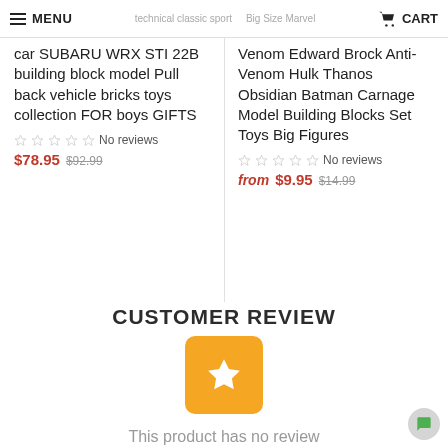MENU | technical classic sport | Big Size Marvel | CART
car SUBARU WRX STI 22B building block model Pull back vehicle bricks toys collection FOR boys GIFTS
No reviews
$78.95 $92.99
Venom Edward Brock Anti-Venom Hulk Thanos Obsidian Batman Carnage Model Building Blocks Set Toys Big Figures
No reviews
from $9.95 $14.99
CUSTOMER REVIEW
[Figure (illustration): Orange square badge with a white star icon in the center]
This product has no review